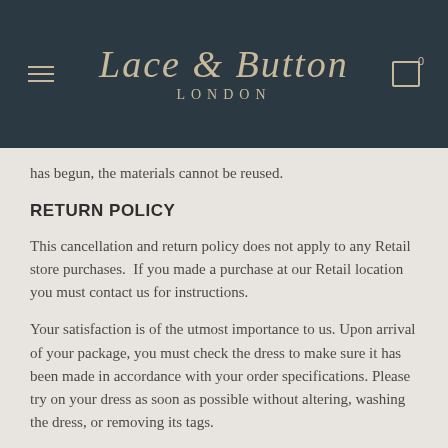Lace & Button LONDON
has begun, the materials cannot be reused.
RETURN POLICY
This cancellation and return policy does not apply to any Retail store purchases.  If you made a purchase at our Retail location you must contact us for instructions.
Your satisfaction is of the utmost importance to us. Upon arrival of your package, you must check the dress to make sure it has been made in accordance with your order specifications. Please try on your dress as soon as possible without altering, washing the dress, or removing its tags.
In case you change your mind regarding your purchase you have